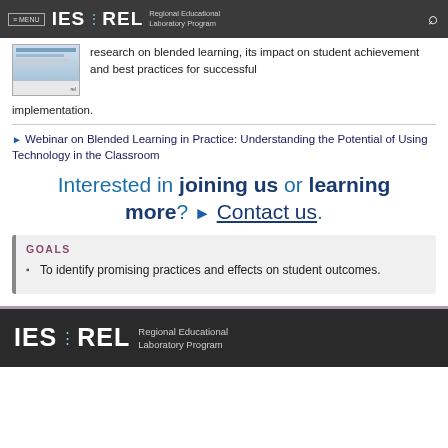≡ MENU  IES ⋮ REL  Regional Educational Laboratory Program
[Figure (screenshot): Thumbnail of a REL document cover page with blue and light colors]
research on blended learning, its impact on student achievement and best practices for successful implementation.
▶ Webinar on Blended Learning in Practice: Understanding the Potential of Using Technology in the Classroom
Interested in joining us or learning more? ▶ Contact us.
GOALS
To identify promising practices and effects on student outcomes.
IES ⋮ REL  Regional Educational Laboratory Program